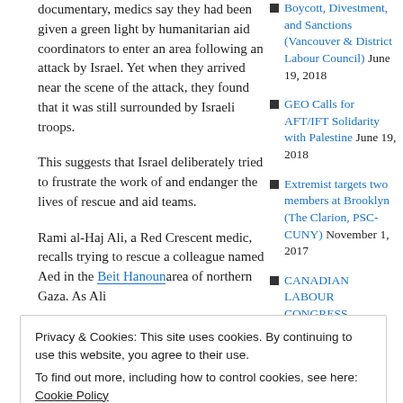documentary, medics say they had been given a green light by humanitarian aid coordinators to enter an area following an attack by Israel. Yet when they arrived near the scene of the attack, they found that it was still surrounded by Israeli troops.
This suggests that Israel deliberately tried to frustrate the work of and endanger the lives of rescue and aid teams.
Rami al-Haj Ali, a Red Crescent medic, recalls trying to rescue a colleague named Aed in the Beit Hanoun area of northern Gaza. As Ali
Boycott, Divestment, and Sanctions (Vancouver & District Labour Council) June 19, 2018
GEO Calls for AFT/IFT Solidarity with Palestine June 19, 2018
Extremist targets two members at Brooklyn (The Clarion, PSC-CUNY) November 1, 2017
CANADIAN LABOUR CONGRESS
Privacy & Cookies: This site uses cookies. By continuing to use this website, you agree to their use.
To find out more, including how to control cookies, see here: Cookie Policy
Canadian teacher